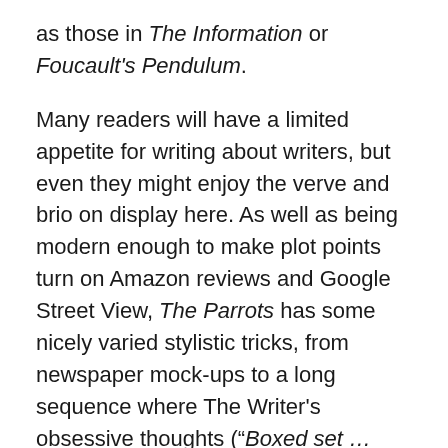as those in The Information or Foucault's Pendulum.

Many readers will have a limited appetite for writing about writers, but even they might enjoy the verve and brio on display here. As well as being modern enough to make plot points turn on Amazon reviews and Google Street View, The Parrots has some nicely varied stylistic tricks, from newspaper mock-ups to a long sequence where The Writer's obsessive thoughts (“Boxed set … boxed set … boxed set”) alternate with the soundtrack of a guided tour through his headphones. At the end, events pile up, and both The Beginner and The Writer have difficult decisions to make. If there's a lesson to learn, it's that writers are never satisfied, though what I remember about the book is less the despair than the blackly humorous worldview. It starts with the epigraph, from Antonio Pigafetta's Report on the First Voyage Around the World, where the